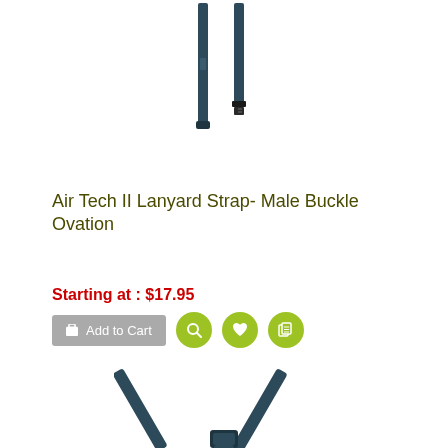[Figure (photo): Product photo of Air Tech II Lanyard Strap with male buckle at top - vertical strap with hardware]
Air Tech II Lanyard Strap- Male Buckle Ovation
Starting at : $17.95
[Figure (screenshot): Add to Cart button and action icon buttons (search, wishlist, compare)]
[Figure (photo): Product photo of Air Tech II Lanyard Strap showing Y-shape configuration from below]